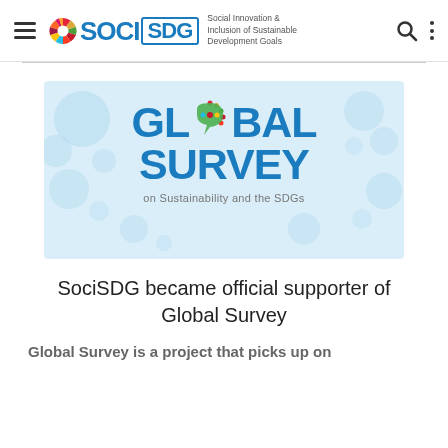SOCI SDG — Social Innovation & Inclusion of Sustainable Development Goals
[Figure (logo): Global Survey on Sustainability and the SDGs banner with large blue text 'GLOBAL SURVEY' and subtitle 'on Sustainability and the SDGs' on a light blue background with decorative circles]
SociSDG became official supporter of Global Survey
Global Survey is a project that picks up on